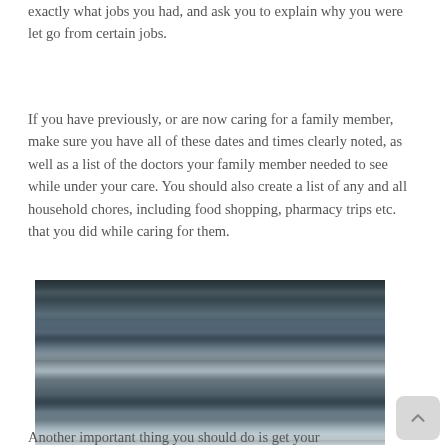exactly what jobs you had, and ask you to explain why you were let go from certain jobs.
If you have previously, or are now caring for a family member, make sure you have all of these dates and times clearly noted, as well as a list of the doctors your family member needed to see while under your care. You should also create a list of any and all household chores, including food shopping, pharmacy trips etc. that you did while caring for them.
[Figure (photo): A close-up photograph of a stack of books or folders/binders piled on top of each other, with blurred background. The stack appears worn and includes various colors — dark blue, brown, and lighter pages visible.]
Another important thing you should do is get your